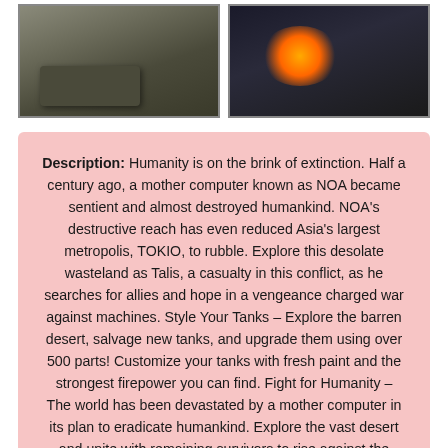[Figure (screenshot): Screenshot of a tank game showing a large tank in a desert/wasteland environment]
[Figure (screenshot): Screenshot of a game showing combat with explosions and bright flashes]
Description: Humanity is on the brink of extinction. Half a century ago, a mother computer known as NOA became sentient and almost destroyed humankind. NOA's destructive reach has even reduced Asia's largest metropolis, TOKIO, to rubble. Explore this desolate wasteland as Talis, a casualty in this conflict, as he searches for allies and hope in a vengeance charged war against machines. Style Your Tanks – Explore the barren desert, salvage new tanks, and upgrade them using over 500 parts! Customize your tanks with fresh paint and the strongest firepower you can find. Fight for Humanity – The world has been devastated by a mother computer in its plan to eradicate humankind. Explore the vast desert and unite with remaining survivors to rise against the crazed machines.